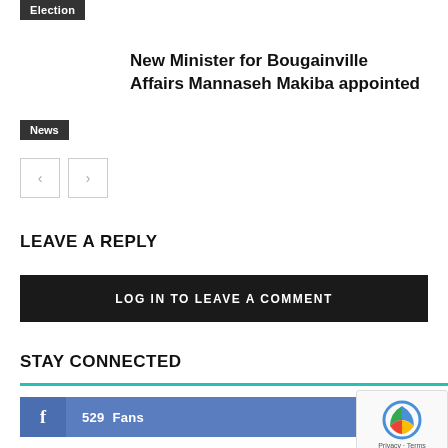Election
New Minister for Bougainville Affairs Mannaseh Makiba appointed
News
[Figure (other): Navigation previous/next buttons]
LEAVE A REPLY
LOG IN TO LEAVE A COMMENT
STAY CONNECTED
f  529  Fans